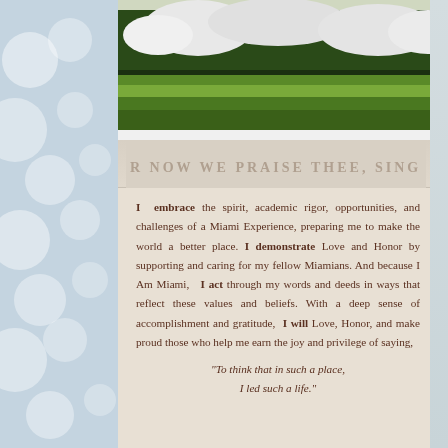[Figure (photo): Left side photo strip showing soft bokeh/balloon background in light blue-gray tones]
[Figure (photo): Top landscape photo showing garden with white flowering trees, green grass, and hedges]
[Figure (photo): Stone inscription reading 'R NOW WE PRAISE THEE, SING JO' on a beige stone wall]
I embrace the spirit, academic rigor, opportunities, and challenges of a Miami Experience, preparing me to make the world a better place. I demonstrate Love and Honor by supporting and caring for my fellow Miamians. And because I Am Miami,   I act through my words and deeds in ways that reflect these values and beliefs. With a deep sense of accomplishment and gratitude,  I will Love, Honor, and make proud those who help me earn the joy and privilege of saying,
"To think that in such a place, I led such a life."